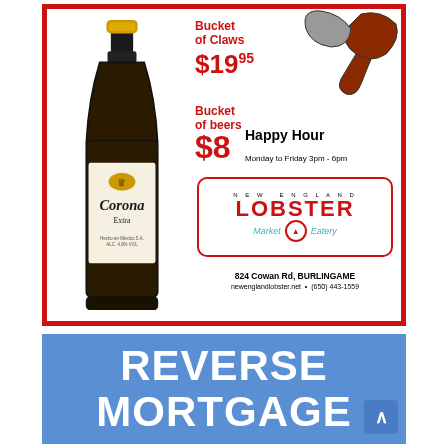[Figure (illustration): New England Lobster Market & Eatery advertisement. Features a Corona Extra beer bottle illustration on the left and a lobster claw on the upper right. Text includes 'Bucket of Claws $19.95', 'Bucket of beers $8', 'Happy Hour Monday to Friday 3pm - 6pm', New England Lobster Market & Eatery logo with address '824 Cowan Rd, BURLINGAME', 'newenglandlobster.net', '(650) 443-1559'. Red border around ad.]
[Figure (illustration): Reverse Mortgage advertisement. Blue background with large white bold text reading 'REVERSE MORTGAGE' (partially cut off). Small scroll-up button on bottom right.]